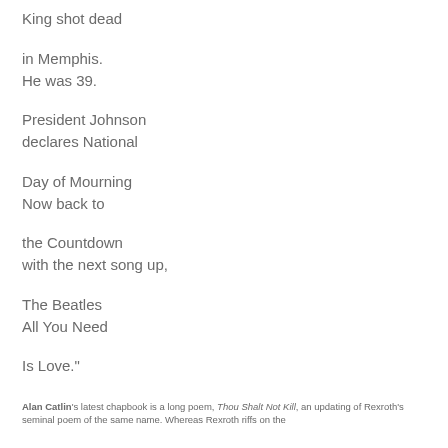King shot dead

in Memphis.
He was 39.

President Johnson
declares National

Day of Mourning
Now back to

the Countdown
with the next song up,

The Beatles
All You Need

Is Love."
Alan Catlin's latest chapbook is a long poem, Thou Shalt Not Kill, an updating of Rexroth's seminal poem of the same name. Whereas Rexroth riffs on the